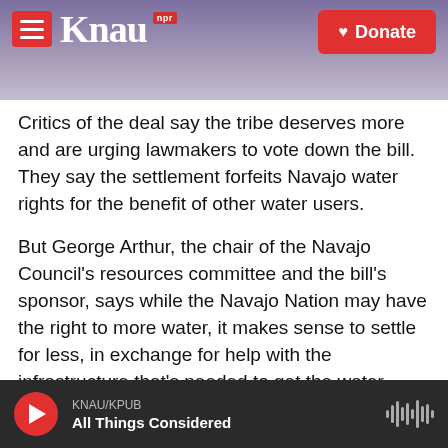KNAU NPR / Donate
Critics of the deal say the tribe deserves more and are urging lawmakers to vote down the bill. They say the settlement forfeits Navajo water rights for the benefit of other water users.
But George Arthur, the chair of the Navajo Council's resources committee and the bill's sponsor, says while the Navajo Nation may have the right to more water, it makes sense to settle for less, in exchange for help with the infrastructure that's needed to get the water where it's needed.
"For the Navajo Nation, back in the 70s, we had barrels and barrels of water, today, we're discussing
KNAU/KPUB — All Things Considered